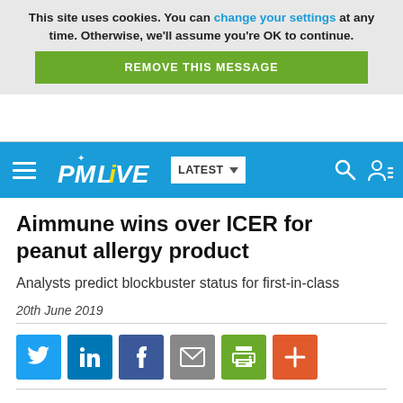This site uses cookies. You can change your settings at any time. Otherwise, we'll assume you're OK to continue.
REMOVE THIS MESSAGE
[Figure (logo): PMLiVE navigation bar with hamburger menu, logo, LATEST dropdown, search and user icons on blue background]
Aimmune wins over ICER for peanut allergy product
Analysts predict blockbuster status for first-in-class
20th June 2019
[Figure (other): Social share buttons: Twitter, LinkedIn, Facebook, Email, Print, More]